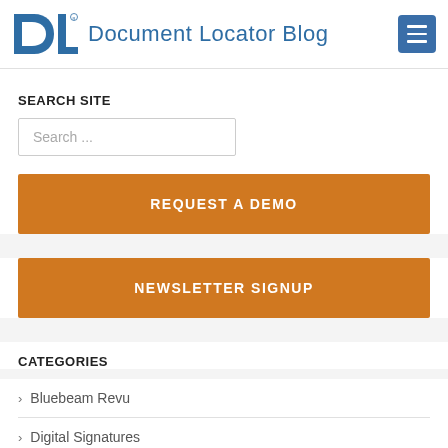Document Locator Blog
SEARCH SITE
Search ...
REQUEST A DEMO
NEWSLETTER SIGNUP
CATEGORIES
Bluebeam Revu
Digital Signatures
Document Control